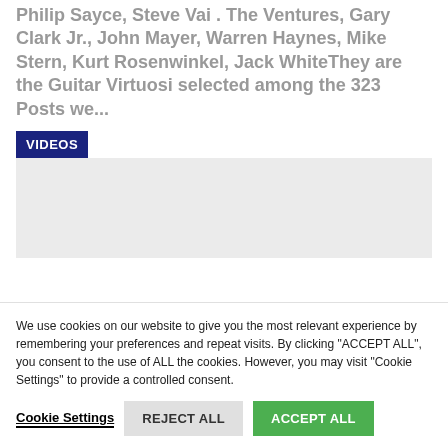Philip Sayce, Steve Vai . The Ventures, Gary Clark Jr., John Mayer, Warren Haynes, Mike Stern, Kurt Rosenwinkel, Jack WhiteThey are the Guitar Virtuosi selected among the 323 Posts we...
VIDEOS
[Figure (other): Light gray placeholder box for videos section]
We use cookies on our website to give you the most relevant experience by remembering your preferences and repeat visits. By clicking "ACCEPT ALL", you consent to the use of ALL the cookies. However, you may visit "Cookie Settings" to provide a controlled consent.
Cookie Settings   REJECT ALL   ACCEPT ALL